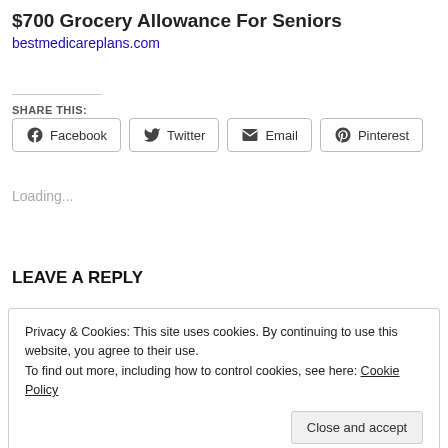$700 Grocery Allowance For Seniors
bestmedicareplans.com
SHARE THIS:
Facebook  Twitter  Email  Pinterest
Loading...
LEAVE A REPLY
Privacy & Cookies: This site uses cookies. By continuing to use this website, you agree to their use.
To find out more, including how to control cookies, see here: Cookie Policy
Close and accept